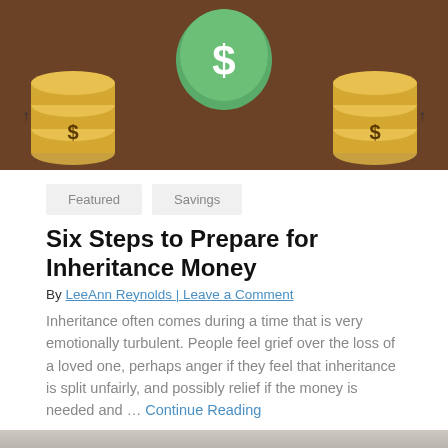[Figure (illustration): Illustration of gold coins with dollar signs on both sides and a green piggy bank/savings icon in the center on a brown background]
Featured
Savings
Six Steps to Prepare for Inheritance Money
By LeeAnn Reynolds | Leave a Comment
Inheritance often comes during a time that is very emotionally turbulent. People feel grief over the loss of a loved one, perhaps anger if they feel that inheritance is split unfairly, and possibly relief if the money is needed and ... Continue Reading
[Figure (photo): Blurred photo, partially visible at bottom of article section]
Compare today's top mortgage rates.
Start >